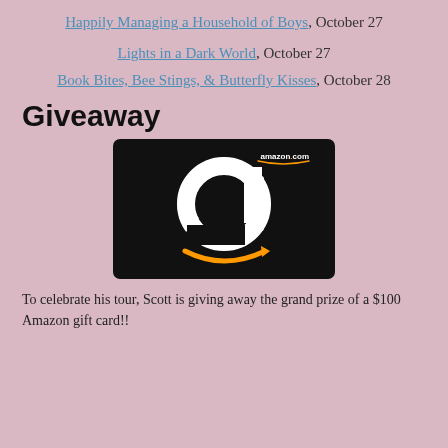Happily Managing a Household of Boys, October 27
Lights in a Dark World, October 27
Book Bites, Bee Stings, & Butterfly Kisses, October 28
Giveaway
[Figure (photo): Amazon.com gift card with white 'a' logo and orange smile arrow on black background]
To celebrate his tour, Scott is giving away the grand prize of a $100 Amazon gift card!!